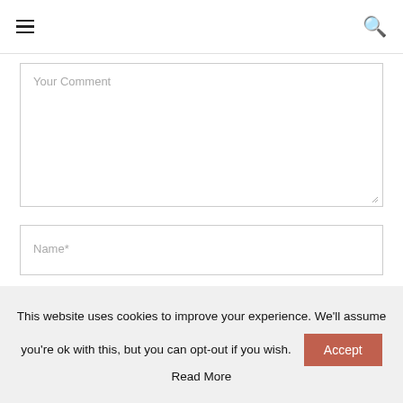Your Comment
Name*
Email*
This website uses cookies to improve your experience. We'll assume you're ok with this, but you can opt-out if you wish. Accept
Read More